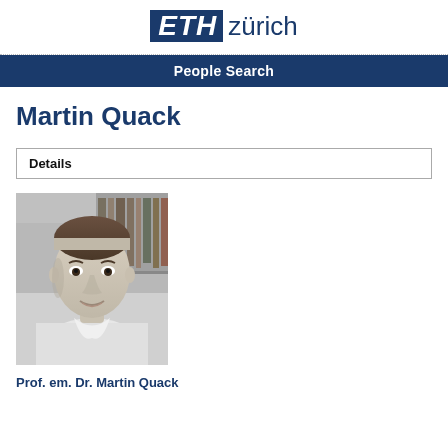ETH zürich
People Search
Martin Quack
Details
[Figure (photo): Black and white portrait photo of Prof. em. Dr. Martin Quack, a middle-aged man with short hair, wearing a white shirt, with bookshelves in the background.]
Prof. em. Dr. Martin Quack